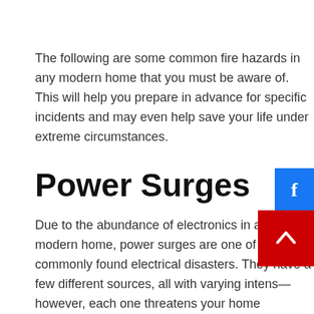The following are some common fire hazards in any modern home that you must be aware of. This will help you prepare in advance for specific incidents and may even help save your life under extreme circumstances.
Power Surges
Due to the abundance of electronics in any modern home, power surges are one of the most commonly found electrical disasters. They have a few different sources, all with varying intens— however, each one threatens your home considerably. A power surge can be a result of